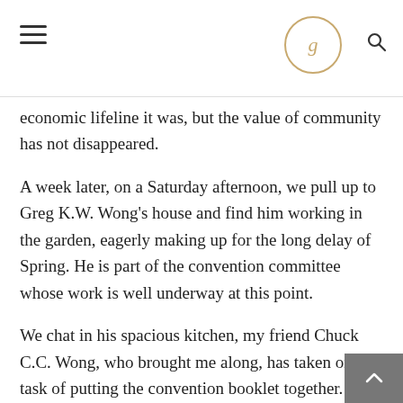g
economic lifeline it was, but the value of community has not disappeared.
A week later, on a Saturday afternoon, we pull up to Greg K.W. Wong’s house and find him working in the garden, eagerly making up for the long delay of Spring. He is part of the convention committee whose work is well underway at this point.
We chat in his spacious kitchen, my friend Chuck C.C. Wong, who brought me along, has taken on the task of putting the convention booklet together. Greg K.W. Wong regularly hosts sessions like this at his house — and very soon in his back garden, too — and clearly